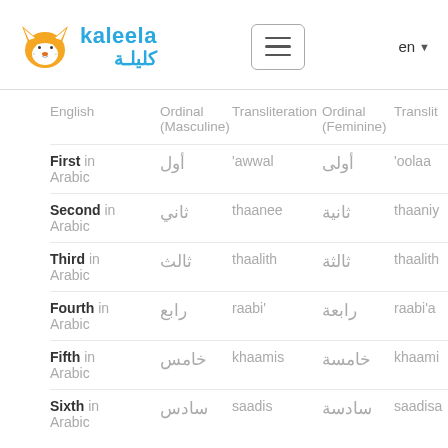kaleela / كليلة — navigation header with hamburger menu and language selector (en)
| English | Ordinal (Masculine) | Transliteration | Ordinal (Feminine) | Transliteration |
| --- | --- | --- | --- | --- |
| First in Arabic | أول | 'awwal | أولى | 'oolaa |
| Second in Arabic | ثاني | thaanee | ثانية | thaaniy… |
| Third in Arabic | ثالث | thaalith | ثالثة | thaalith… |
| Fourth in Arabic | رابع | raabi' | رابعة | raabi'a… |
| Fifth in Arabic | خامس | khaamis | خامسة | khaami… |
| Sixth in Arabic | سادس | saadis | سادسة | saadisa… |